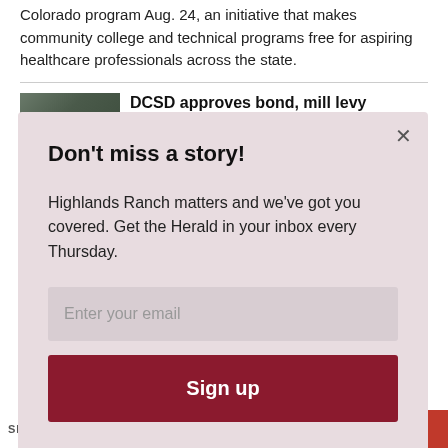Colorado program Aug. 24, an initiative that makes community college and technical programs free for aspiring healthcare professionals across the state.
DCSD approves bond, mill levy override questions for November
[Figure (screenshot): Newsletter signup modal overlay with pink/mauve background. Contains headline 'Don't miss a story!', body text about Highlands Ranch Herald, email input field, and Sign up button.]
Don't miss a story!
Highlands Ranch matters and we've got you covered. Get the Herald in your inbox every Thursday.
Enter your email
Sign up
SHARES